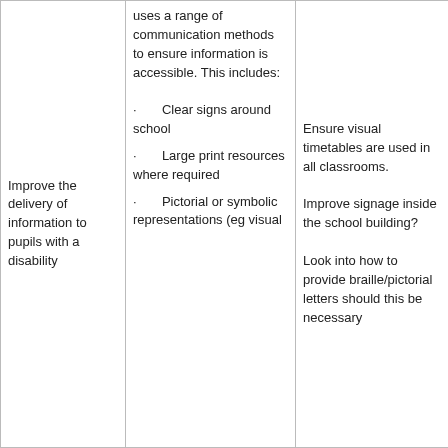|  |  |  |  |
| --- | --- | --- | --- |
| Improve the delivery of information to pupils with a disability | uses a range of communication methods to ensure information is accessible. This includes:
· Clear signs around school
· Large print resources where required
· Pictorial or symbolic representations (eg visual | Ensure visual timetables are used in all classrooms.

Improve signage inside the school building?

Look into how to provide braille/pictorial letters should this be necessary | and en they h visual timeta a class monit this

Conta appro disabi group explo inform can be provid differe form |